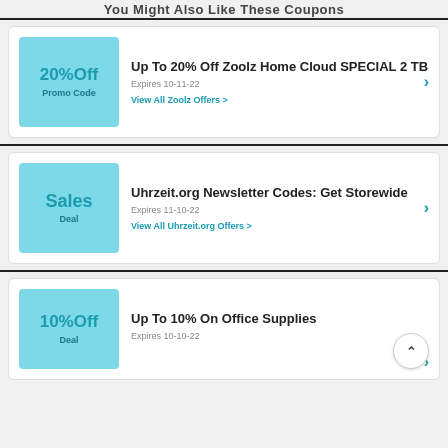You Might Also Like These Coupons
Up To 20% Off Zoolz Home Cloud SPECIAL 2 TB
Expires 10-11-22
View All Zoolz Offers >
Uhrzeit.org Newsletter Codes: Get Storewide
Expires 11-10-22
View All Uhrzeit.org Offers >
Up To 10% On Office Supplies
Expires 10-10-22